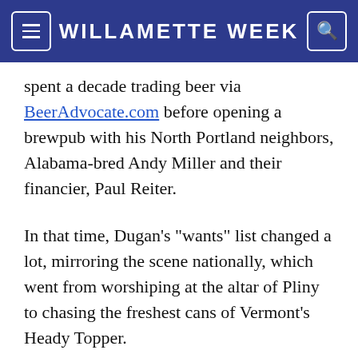WILLAMETTE WEEK
spent a decade trading beer via BeerAdvocate.com before opening a brewpub with his North Portland neighbors, Alabama-bred Andy Miller and their financier, Paul Reiter.
In that time, Dugan's "wants" list changed a lot, mirroring the scene nationally, which went from worshiping at the altar of Pliny to chasing the freshest cans of Vermont's Heady Topper.
Great Notion's Ripe uses yeast propagated from Heady Topper along with a light malt bill and Citra and Mosaic hops. It's a pint-sized version of